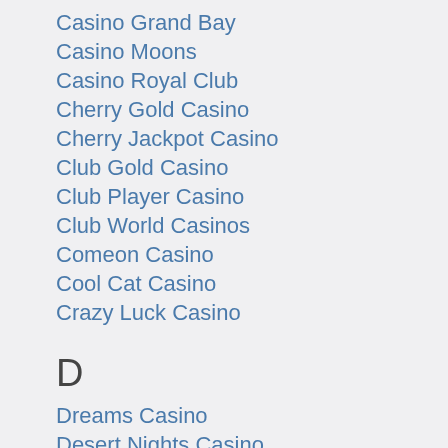Casino Grand Bay
Casino Moons
Casino Royal Club
Cherry Gold Casino
Cherry Jackpot Casino
Club Gold Casino
Club Player Casino
Club World Casinos
Comeon Casino
Cool Cat Casino
Crazy Luck Casino
D
Dreams Casino
Desert Nights Casino
Diamond Reels Casino
E
Euro Palace Casino